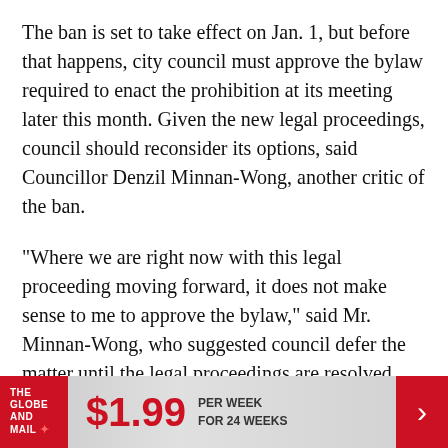The ban is set to take effect on Jan. 1, but before that happens, city council must approve the bylaw required to enact the prohibition at its meeting later this month. Given the new legal proceedings, council should reconsider its options, said Councillor Denzil Minnan-Wong, another critic of the ban.
"Where we are right now with this legal proceeding moving forward, it does not make sense to me to approve the bylaw," said Mr. Minnan-Wong, who suggested council defer the matter until the legal proceedings are resolved. "To do otherwise would create a level of confusion to consumers,
[Figure (other): The Globe and Mail advertisement banner: $1.99 per week for 24 weeks, with red Globe and Mail logo on left and red arrow on right.]